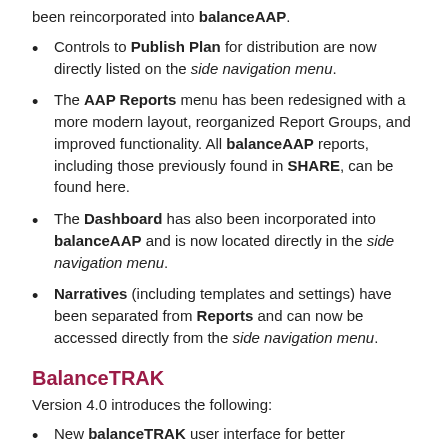been reincorporated into balanceAAP.
Controls to Publish Plan for distribution are now directly listed on the side navigation menu.
The AAP Reports menu has been redesigned with a more modern layout, reorganized Report Groups, and improved functionality. All balanceAAP reports, including those previously found in SHARE, can be found here.
The Dashboard has also been incorporated into balanceAAP and is now located directly in the side navigation menu.
Narratives (including templates and settings) have been separated from Reports and can now be accessed directly from the side navigation menu.
BalanceTRAK
Version 4.0 introduces the following:
New balanceTRAK user interface for better navigation and usability
New logos for all applications in the balanceWORKS suite